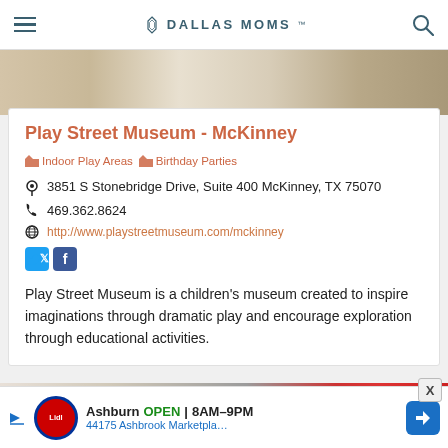DALLAS MOMS
[Figure (photo): Top photo strip showing interior of play area with wood floor and white shelving]
Play Street Museum - McKinney
Indoor Play Areas   Birthday Parties
3851 S Stonebridge Drive, Suite 400 McKinney, TX 75070
469.362.8624
http://www.playstreetmuseum.com/mckinney
[Figure (logo): Twitter and Facebook social media icon buttons]
Play Street Museum is a children's museum created to inspire imaginations through dramatic play and encourage exploration through educational activities.
[Figure (photo): Bottom partial photo strip showing play area with red and white striped element]
[Figure (infographic): Advertisement banner: Lidl store - Ashburn OPEN 8AM-9PM, 44175 Ashbrook Marketpla...]